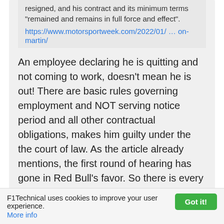resigned, and his contract and its minimum terms "remained and remains in full force and effect".
https://www.motorsportweek.com/2022/01/… on-martin/
An employee declaring he is quitting and not coming to work, doesn't mean he is out! There are basic rules governing employment and NOT serving notice period and all other contractual obligations, makes him guilty under the the court of law. As the article already mentions, the first round of hearing has gone in Red Bull's favor. So there is every reason for Red Bull to keep Fallows off Aston Martin until 2023.
Hakuna Matata!
Silo
F1Technical uses cookies to improve your user experience. More info